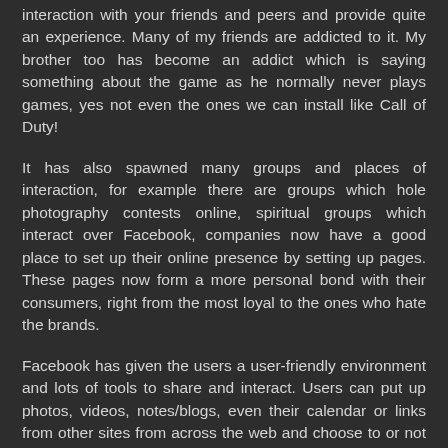interaction with your friends and peers and provide quite an experience. Many of my friends are addicted to it. My brother too has become an addict which is saying something about the game as he normally never plays games, yes not even the ones we can install like Call of Duty!
It has also spawned many groups and places of interaction, for example there are groups which hole photography contests online, spiritual groups which interact over Facebook, companies now have a good place to set up their online presence by setting up pages. These pages now form a more personal bond with their consumers, right from the most loyal to the ones who hate the brands.
Facebook has given the users a user-friendly environment and lots of tools to share and interact. Users can put up photos, videos, notes/blogs, even their calendar or links from other sites from across the web and choose to or not to share or share only privately.
Another revolution that Facebook brought about was the "like" button. So a person can see what his friends like and